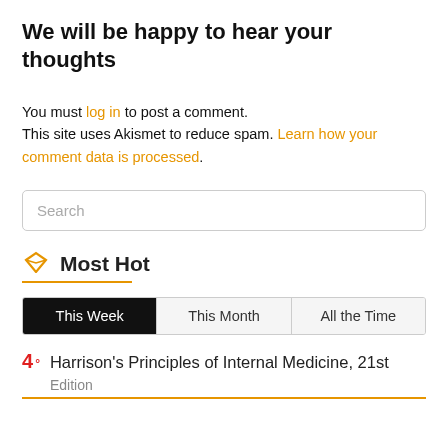We will be happy to hear your thoughts
You must log in to post a comment. This site uses Akismet to reduce spam. Learn how your comment data is processed.
Search
Most Hot
This Week | This Month | All the Time
4° Harrison's Principles of Internal Medicine, 21st Edition...